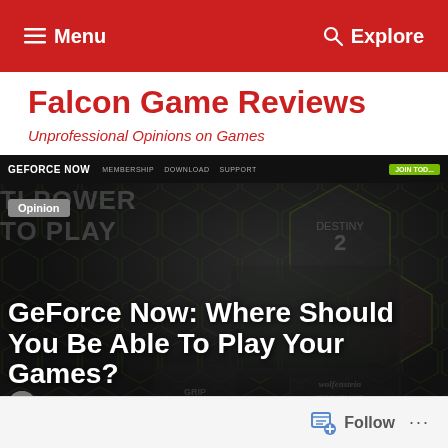Menu   Explore
Falcon Game Reviews
Unprofessional Opinions on Games
[Figure (screenshot): Screenshot of the GeForce Now website with dark background, hexagonal pattern, and gaming imagery. Shows navigation bar with GEFORCE NOW logo, MEMBERSHIP, DOWNLOAD, SUPPORT links and JOIN TODAY button. An 'Opinion' badge is visible, overlaid with article title 'GeForce Now: Where Should You Be Able To Play Your Games?' and author byline 'Shelby "Falcon509" Steiner on March 1, 2020'.]
Follow ...